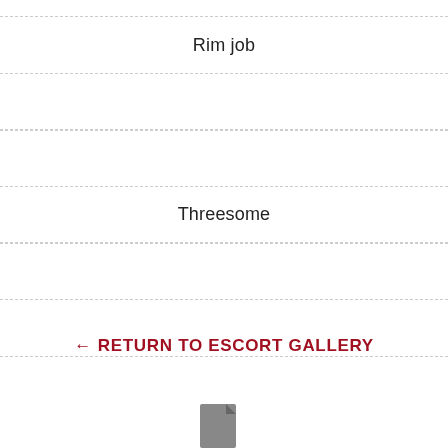Rim job
Threesome
← RETURN TO ESCORT GALLERY
[Figure (other): Document/file icon at bottom center]